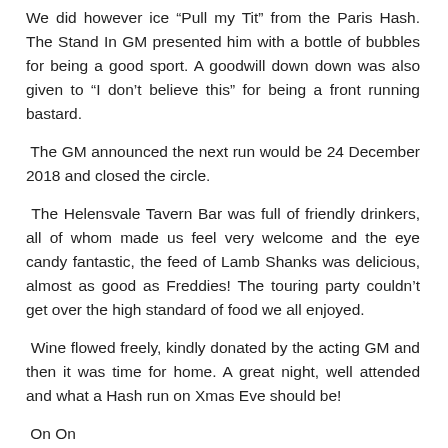We did however ice “Pull my Tit” from the Paris Hash. The Stand In GM presented him with a bottle of bubbles for being a good sport. A goodwill down down was also given to “I don’t believe this” for being a front running bastard.
The GM announced the next run would be 24 December 2018 and closed the circle.
The Helensvale Tavern Bar was full of friendly drinkers, all of whom made us feel very welcome and the eye candy fantastic, the feed of Lamb Shanks was delicious, almost as good as Freddies! The touring party couldn’t get over the high standard of food we all enjoyed.
Wine flowed freely, kindly donated by the acting GM and then it was time for home. A great night, well attended and what a Hash run on Xmas Eve should be!
On On